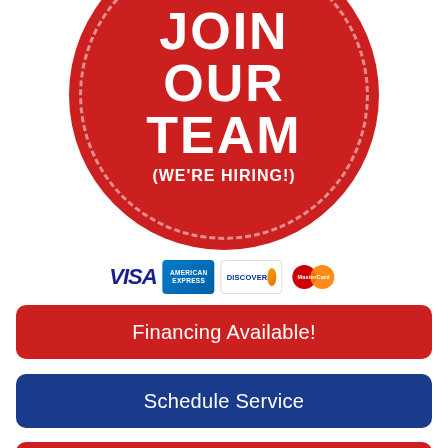[Figure (illustration): Red circle with white text 'JOIN OUR TEAM (WE'RE HIRING!)' in bold uppercase letters, with a dashed white border inside the circle]
[Figure (illustration): Payment card logos: VISA, American Express, Discover, MasterCard]
Financing Available!
Schedule Service